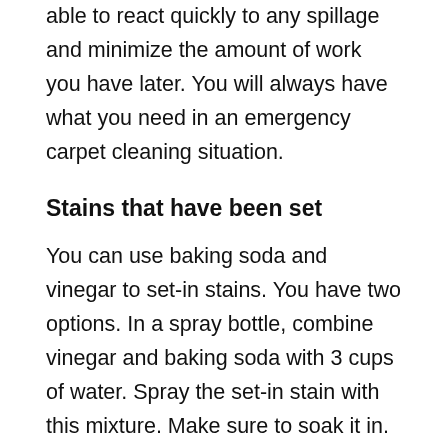able to react quickly to any spillage and minimize the amount of work you have later. You will always have what you need in an emergency carpet cleaning situation.
Stains that have been set
You can use baking soda and vinegar to set-in stains. You have two options. In a spray bottle, combine vinegar and baking soda with 3 cups of water. Spray the set-in stain with this mixture. Make sure to soak it in. Allow it to sit for around 20 minutes before moving on. Alternatively, you can put the vinegar and baking soda directly on the stain. Let it bubble up and soak for the same time.